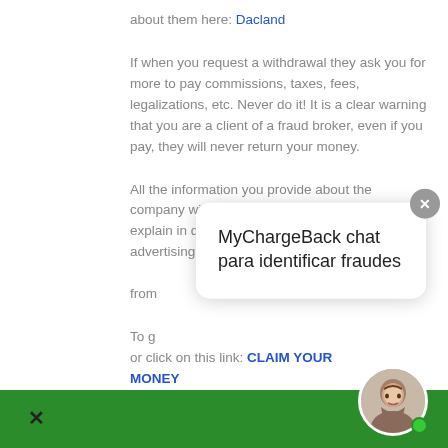about them here: Dacland
If when you request a withdrawal they ask you for more to pay commissions, taxes, fees, legalizations, etc. Never do it! It is a clear warning that you are a client of a fraud broker, even if you pay, they will never return your money.
All the information you provide about the company will help those affected by this broker, explain in detail how everything happened, what advertising you saw, the names of the people who contacted you, from where they called you etc.
To go to the complaint form or click on this link: CLAIM YOUR MONEY
[Figure (screenshot): Chat popup overlay reading 'MyChargeBack chat para identificar fraudes' with a close button (X circle) in the top-right, displayed over a green footer bar with a female avatar photo in the bottom-right corner and an X close icon bottom-left.]